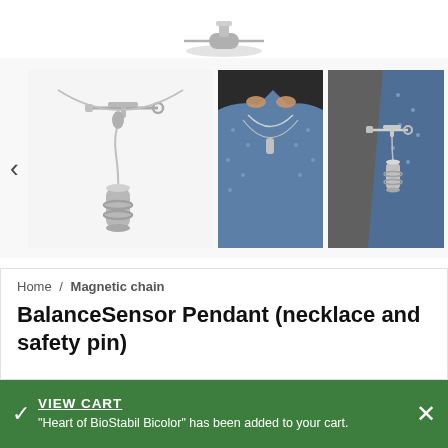[Figure (photo): Top portion of a cropped product image showing a silver necklace clasp/pendant at the top center of the page]
[Figure (photo): Three product thumbnail photos in a row: left shows a silver pendant necklace with safety pin and cylindrical charm on white background; center shows a person wearing the necklace over a blue dotted top; right shows the safety pin pendant clipped to blue fabric]
Home / Magnetic chain
BalanceSensor Pendant (necklace and safety pin)
VIEW CART
"Heart of BioStabil Bicolor" has been added to your cart.